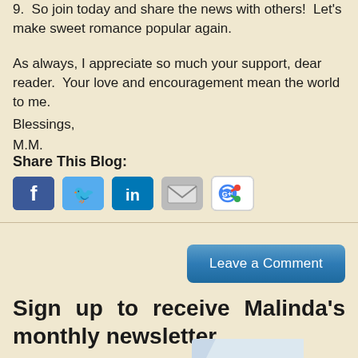9.  So join today and share the news with others!  Let's make sweet romance popular again.
As always, I appreciate so much your support, dear reader.  Your love and encouragement mean the world to me.
Blessings,
M.M.
Share This Blog:
[Figure (infographic): Social sharing icons: Facebook, Twitter, LinkedIn, Email, Google+]
Leave a Comment
Sign up to receive Malinda's monthly newsletter
[Figure (photo): Partial image of a newsletter/book cover with text LINDA visible]